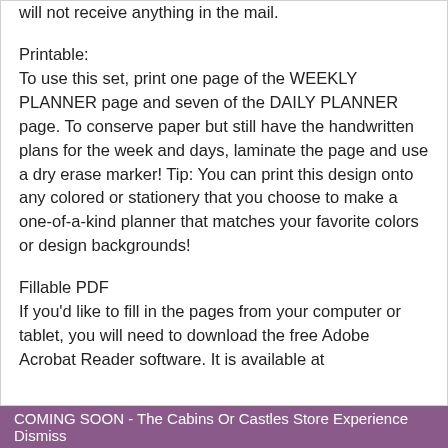will not receive anything in the mail.
Printable:
To use this set, print one page of the WEEKLY PLANNER page and seven of the DAILY PLANNER page. To conserve paper but still have the handwritten plans for the week and days, laminate the page and use a dry erase marker! Tip: You can print this design onto any colored or stationery that you choose to make a one-of-a-kind planner that matches your favorite colors or design backgrounds!
Fillable PDF
If you'd like to fill in the pages from your computer or tablet, you will need to download the free Adobe Acrobat Reader software. It is available at
COMING SOON - The Cabins Or Castles Store Experience Dismiss